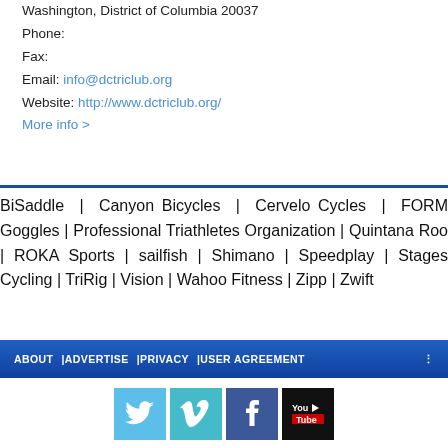Washington, District of Columbia 20037
Phone:
Fax:
Email: info@dctriclub.org
Website: http://www.dctriclub.org/
More info >
BiSaddle | Canyon Bicycles | Cervelo Cycles | FORM Goggles | Professional Triathletes Organization | Quintana Roo | ROKA Sports | sailfish | Shimano | Speedplay | Stages Cycling | TriRig | Vision | Wahoo Fitness | Zipp | Zwift
ABOUT | ADVERTISE | PRIVACY | USER AGREEMENT
[Figure (infographic): Four social media icons: Twitter (light blue), Vimeo (teal/blue), Facebook (dark blue), YouTube (black)]